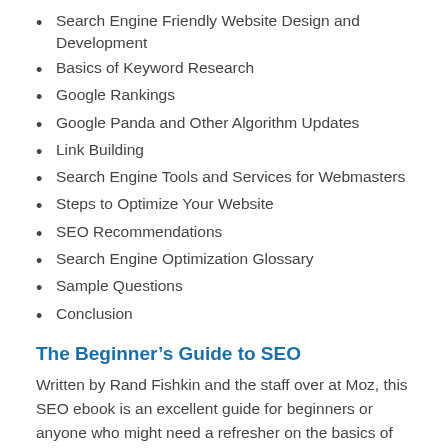Search Engine Friendly Website Design and Development
Basics of Keyword Research
Google Rankings
Google Panda and Other Algorithm Updates
Link Building
Search Engine Tools and Services for Webmasters
Steps to Optimize Your Website
SEO Recommendations
Search Engine Optimization Glossary
Sample Questions
Conclusion
The Beginner’s Guide to SEO
Written by Rand Fishkin and the staff over at Moz, this SEO ebook is an excellent guide for beginners or anyone who might need a refresher on the basics of SEO. This ten